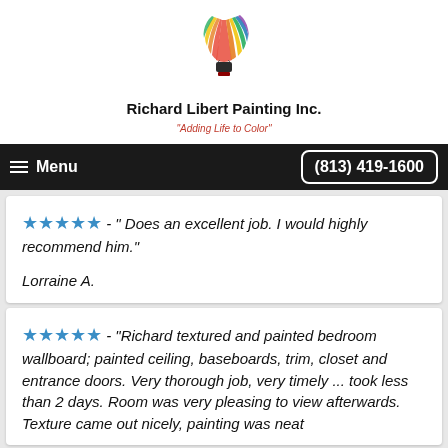[Figure (logo): Richard Libert Painting Inc. logo — a colorful hot air balloon with rainbow streaks above a dark gondola]
Richard Libert Painting Inc.
"Adding Life to Color"
Menu   (813) 419-1600
★★★★★ - " Does an excellent job. I would highly recommend him." Lorraine A.
★★★★★ - "Richard textured and painted bedroom wallboard; painted ceiling, baseboards, trim, closet and entrance doors. Very thorough job, very timely ... took less than 2 days. Room was very pleasing to view afterwards. Texture came out nicely, painting was neat